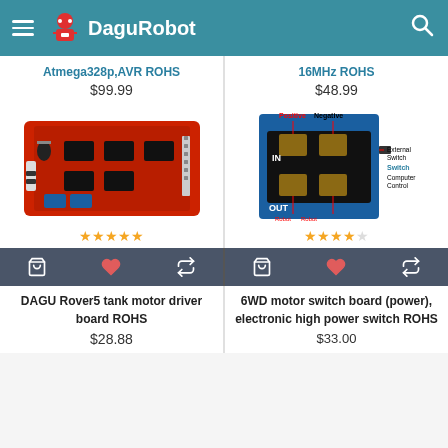DaguRobot
Atmega328p,AVR ROHS
$99.99
16MHz ROHS
$48.99
[Figure (photo): DAGU Rover5 tank motor driver board - red PCB with chips, capacitors, and connectors]
[Figure (photo): 6WD motor switch board (power), electronic high power switch - blue PCB with terminal connections labeled Positive, Negative, IN, OUT, External Switch, Switch, Computer Control, Robot Positive, Robot Negative]
DAGU Rover5 tank motor driver board ROHS
$28.88
6WD motor switch board (power), electronic high power switch ROHS
$33.00
FILTER PRODUCTS